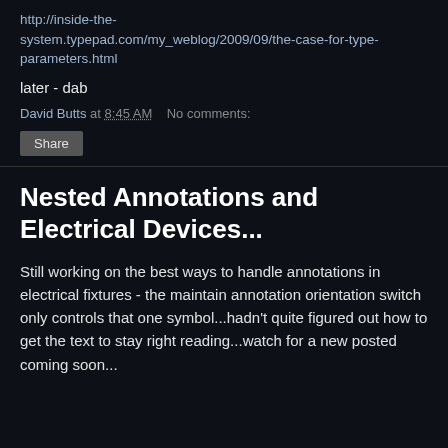http://inside-the-system.typepad.com/my_weblog/2009/09/the-case-for-type-parameters.html
later - dab
David Butts at 8:45 AM   No comments:
Share
Nested Annotations and Electrical Devices...
Still working on the best ways to handle annotations in electrical fixtures - the maintain annotation orientation switch only controls that one symbol...hadn't quite figured out how to get the text to stay right reading...watch for a new posted coming soon...